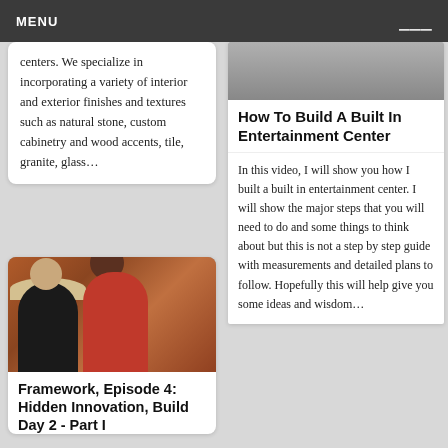MENU
centers. We specialize in incorporating a variety of interior and exterior finishes and textures such as natural stone, custom cabinetry and wood accents, tile, granite, glass...
[Figure (photo): Two people outdoors in front of a brick wall; one wears a wide-brim hat and dark shirt, the other wears a red tank top.]
Framework, Episode 4: Hidden Innovation, Build Day 2 - Part I
[Figure (photo): Partial image at top of right card — appears to be a home interior scene.]
How To Build A Built In Entertainment Center
In this video, I will show you how I built a built in entertainment center. I will show the major steps that you will need to do and some things to think about but this is not a step by step guide with measurements and detailed plans to follow. Hopefully this will help give you some ideas and wisdom...